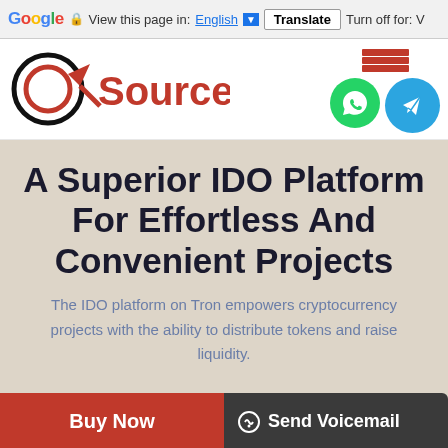Google  View this page in: English  Translate  Turn off for: V
[Figure (logo): CSource logo with red circular icon and text 'Source' in red]
[Figure (illustration): Stack of red books icon and social media circle buttons: WhatsApp (green) and Telegram (blue)]
A Superior IDO Platform For Effortless And Convenient Projects
The IDO platform on Tron empowers cryptocurrency projects with the ability to distribute tokens and raise liquidity.
Buy Now   Send Voicemail